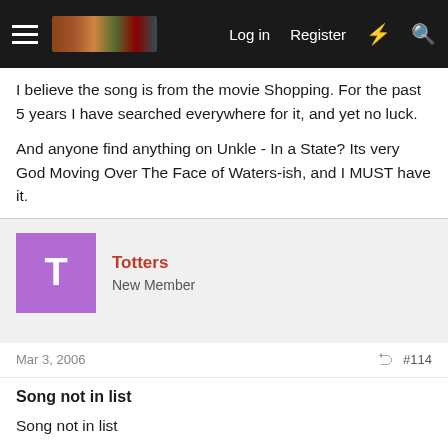Log in  Register
I believe the song is from the movie Shopping. For the past 5 years I have searched everywhere for it, and yet no luck.

And anyone find anything on Unkle - In a State? Its very God Moving Over The Face of Waters-ish, and I MUST have it.
Totters
New Member
Mar 3, 2006  #114
Song not in list
Song not in list

Does anyone know what this music is? It's not on the list:
00:59-01:16

Clip HERE.